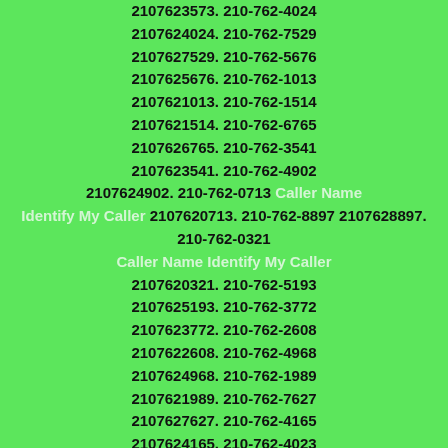2107623573. 210-762-4024
2107624024. 210-762-7529
2107627529. 210-762-5676
2107625676. 210-762-1013
2107621013. 210-762-1514
2107621514. 210-762-6765
2107626765. 210-762-3541
2107623541. 210-762-4902
2107624902. 210-762-0713 Caller Name Identify My Caller 2107620713. 210-762-8897 2107628897. 210-762-0321 Caller Name Identify My Caller
2107620321. 210-762-5193
2107625193. 210-762-3772
2107623772. 210-762-2608
2107622608. 210-762-4968
2107624968. 210-762-1989
2107621989. 210-762-7627
2107627627. 210-762-4165
2107624165. 210-762-4023
2107624023. 210-762-9035
2107629035. 210-762-2535
2107622535. 210-762-8850
2107628850. 210-762-2627
2107622627. 210-762-2391
2107622391. 210-762-5288